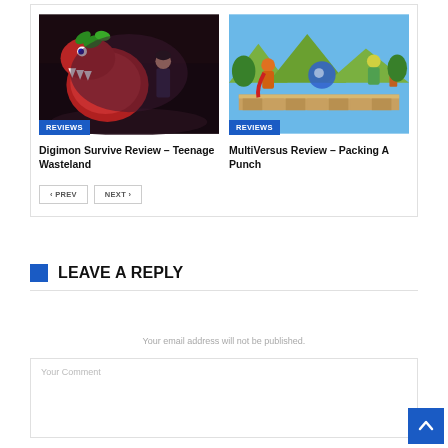[Figure (screenshot): Digimon Survive game screenshot showing a red dinosaur-like creature with a boy in dark environment, with a blue REVIEWS badge overlay at bottom left]
[Figure (screenshot): MultiVersus game screenshot showing colorful characters fighting on a platform stage, with a blue REVIEWS badge overlay at bottom left]
Digimon Survive Review – Teenage Wasteland
MultiVersus Review – Packing A Punch
PREV
NEXT
LEAVE A REPLY
Your email address will not be published.
Your Comment